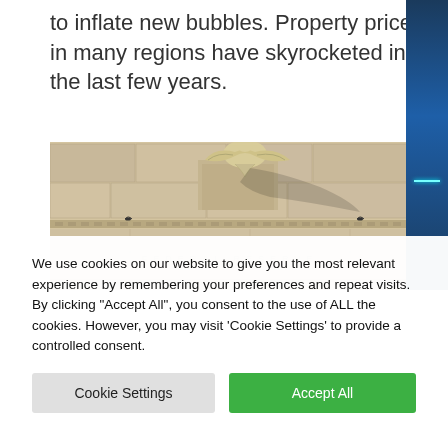to inflate new bubbles. Property prices in many regions have skyrocketed in the last few years.
[Figure (photo): Photograph of the Federal Reserve building facade, showing the eagle sculpture and the words FEDERAL RESERVE carved in stone.]
We use cookies on our website to give you the most relevant experience by remembering your preferences and repeat visits. By clicking "Accept All", you consent to the use of ALL the cookies. However, you may visit 'Cookie Settings' to provide a controlled consent.